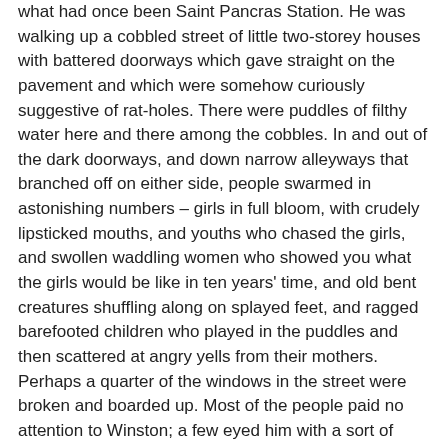what had once been Saint Pancras Station. He was walking up a cobbled street of little two-storey houses with battered doorways which gave straight on the pavement and which were somehow curiously suggestive of rat-holes. There were puddles of filthy water here and there among the cobbles. In and out of the dark doorways, and down narrow alleyways that branched off on either side, people swarmed in astonishing numbers – girls in full bloom, with crudely lipsticked mouths, and youths who chased the girls, and swollen waddling women who showed you what the girls would be like in ten years' time, and old bent creatures shuffling along on splayed feet, and ragged barefooted children who played in the puddles and then scattered at angry yells from their mothers. Perhaps a quarter of the windows in the street were broken and boarded up. Most of the people paid no attention to Winston; a few eyed him with a sort of guarded curiosity. Two monstrous women with brick-red forearms folded across their aprons were talking outside a doorway. Winston caught scraps of conversation as he approached.
' "Yes," I says to 'er, "that's all very well," I says. "But if you'd of been in my place you'd of done the same as what I done